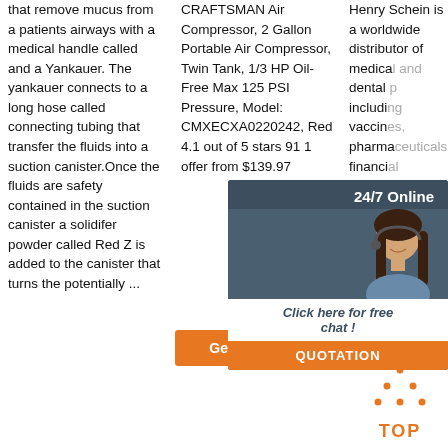that remove mucus from a patients airways with a medical handle called and a Yankauer. The yankauer connects to a long hose called connecting tubing that transfer the fluids into a suction canister.Once the fluids are safety contained in the suction canister a solidifer powder called Red Z is added to the canister that turns the potentially ...
CRAFTSMAN Air Compressor, 2 Gallon Portable Air Compressor, Twin Tank, 1/3 HP Oil-Free Max 125 PSI Pressure, Model: CMXECXA0220242, Red 4.1 out of 5 stars 91 1 offer from $139.97
[Figure (infographic): Orange 'Get Price' button]
Henry Schein is a worldwide distributor of medical and dental products including vaccines, pharmaceuticals, financial services and eq
[Figure (infographic): 24/7 Online chat widget with female agent wearing headset, 'Click here for free chat!' text and orange QUOTATION button]
[Figure (other): Orange 'TOP' button with dot-triangle icon pointing upward]